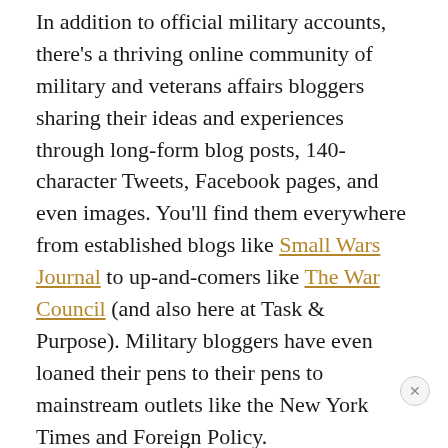In addition to official military accounts, there's a thriving online community of military and veterans affairs bloggers sharing their ideas and experiences through long-form blog posts, 140-character Tweets, Facebook pages, and even images. You'll find them everywhere from established blogs like Small Wars Journal to up-and-comers like The War Council (and also here at Task & Purpose). Military bloggers have even loaned their pens to their pens to mainstream outlets like the New York Times and Foreign Policy.
Blogging is not just for aspiring geeks, either. Military and veteran affairs publications are moving more into the mainstream media as two wars come to a close and third one ignites. If you've thought about putting pen to pad (or fingers to keyboard), there are five reasons why right now is the time to do it.